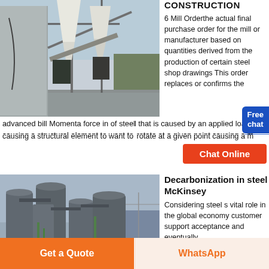[Figure (photo): Industrial steel mill equipment with white hoppers and conveyor structures]
CONSTRUCTION
6 Mill Orderthe actual final purchase order for the mill or manufacturer based on quantities derived from the production of certain steel shop drawings This order replaces or confirms the advanced bill Momenta force in of steel that is caused by an applied load causing a structural element to want to rotate at a given point causing a m
[Figure (photo): Industrial steel facility with large cylindrical silos and storage tanks]
Decarbonization in steel McKinsey
Considering steel s vital role in the global economy customer support acceptance and eventually